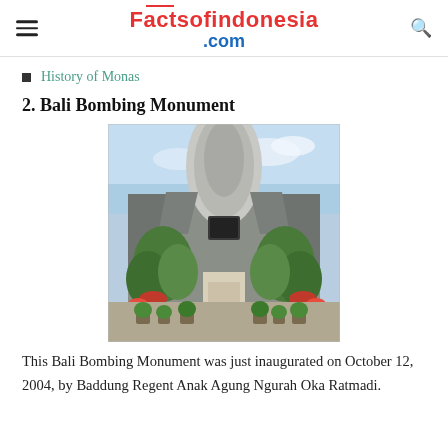Factsofindonesia.com
History of Monas
2. Bali Bombing Monument
[Figure (photo): Photograph of the Bali Bombing Monument, showing a tall ornate stone monument with wing-like structures on either side, surrounded by green plants and potted flowers in front of a building.]
This Bali Bombing Monument was just inaugurated on October 12, 2004, by Baddung Regent Anak Agung Ngurah Oka Ratmadi.
(partial text continues below, cut off)